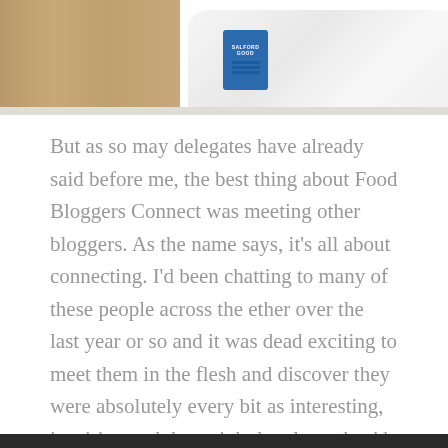[Figure (photo): A photo showing a white fabric or t-shirt with a blue conference badge/lanyard on a wooden table surface. The badge appears to be from a Food Bloggers Connect event.]
But as so may delegates have already said before me, the best thing about Food Bloggers Connect was meeting other bloggers. As the name says, it's all about connecting. I'd been chatting to many of these people across the ether over the last year or so and it was dead exciting to meet them in the flesh and discover they were absolutely every bit as interesting, inspiring and downright lovely as they'd come across online.